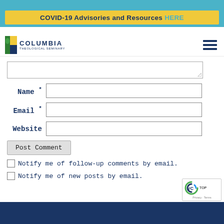COVID-19 Advisories and Resources HERE
[Figure (logo): Columbia Theological Seminary logo with tree icon and text]
Name *
Email *
Website
Post Comment
Notify me of follow-up comments by email.
Notify me of new posts by email.